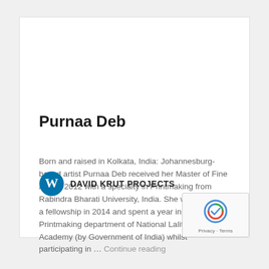Purnaa Deb
Born and raised in Kolkata, India: Johannesburg-based artist Purnaa Deb received her Master of Fine Arts in 2012 with a specialty in Printmaking from Rabindra Bharati University, India. She was awarded a fellowship in 2014 and spent a year in the Printmaking department of National Lalit Kala Academy (by Government of India) whilst participating in … Continue reading
[Figure (logo): WordPress logo circle icon in blue]
DAVID KRUT PROJECTS
[Figure (logo): Google reCAPTCHA badge with Privacy and Terms text]